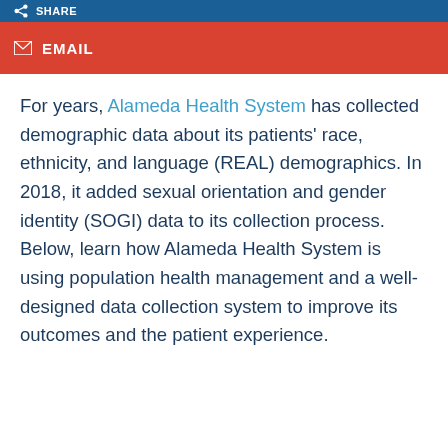SHARE
EMAIL
For years, Alameda Health System has collected demographic data about its patients' race, ethnicity, and language (REAL) demographics. In 2018, it added sexual orientation and gender identity (SOGI) data to its collection process. Below, learn how Alameda Health System is using population health management and a well-designed data collection system to improve its outcomes and the patient experience.